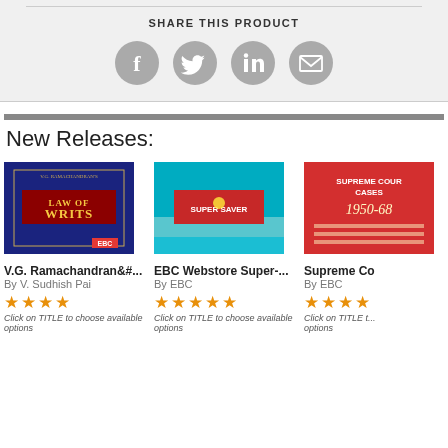SHARE THIS PRODUCT
[Figure (infographic): Social share icons: Facebook, Twitter, LinkedIn, Email]
New Releases:
[Figure (photo): Book cover: Law of Writs by V.G. Ramachandran, blue cover with EBC logo]
V.G. Ramachandran&#...
By V. Sudhish Pai
★★★★
Click on TITLE to choose available options
[Figure (photo): Book cover: EBC Webstore Super-... teal/aqua background with red book]
EBC Webstore Super-...
By EBC
★★★★★
Click on TITLE to choose available options
[Figure (photo): Book cover: Supreme Court Cases 1950-68, red cover]
Supreme Co...
By EBC
★★★★
Click on TITLE t...